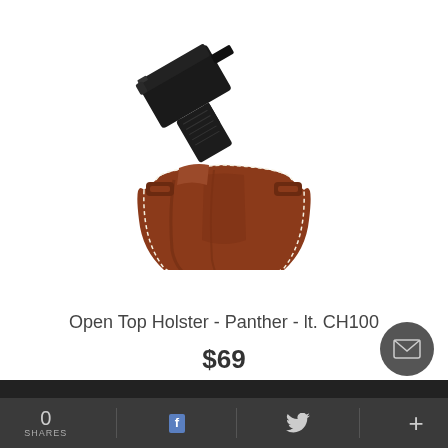[Figure (photo): A brown leather open top belt holster (Panther CH100) with a black semi-automatic pistol partially inserted, shown at an angle. The holster has belt slots and white stitching detail.]
Open Top Holster - Panther - lt. CH100
$69
★★★★★ (231)
0 SHARES  f  🐦  +